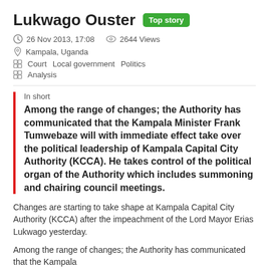Lukwago Ouster
26 Nov 2013, 17:08   2644 Views
Kampala, Uganda
Court   Local government   Politics
Analysis
In short
Among the range of changes; the Authority has communicated that the Kampala Minister Frank Tumwebaze will with immediate effect take over the political leadership of Kampala Capital City Authority (KCCA). He takes control of the political organ of the Authority which includes summoning and chairing council meetings.
Changes are starting to take shape at Kampala Capital City Authority (KCCA) after the impeachment of the Lord Mayor Erias Lukwago yesterday.
Among the range of changes; the Authority has communicated that the Kampala